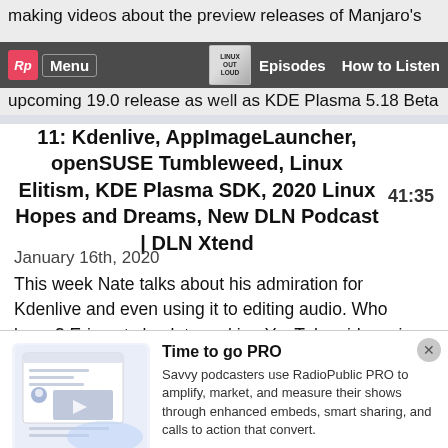making videos about the preview releases of Manjaro's upcoming 19.0 release as well as KDE Plasma 5.18 Beta on Kubuntu. Nate tells us about using Windscribe VPN...
11: Kdenlive, AppImageLauncher, openSUSE Tumbleweed, Linux Elitism, KDE Plasma SDK, 2020 Linux Hopes and Dreams, New DLN Podcast | DLN Xtend
January 16th, 2020
This week Nate talks about his admiration for Kdenlive and even using it to editing audio. Who knew? Eric gets back to making YouTube videos, in ...
[Figure (screenshot): RadioPublic PRO promotion with illustration of a podcast player interface]
Time to go PRO
Savvy podcasters use RadioPublic PRO to amplify, market, and measure their shows through enhanced embeds, smart sharing, and calls to action that convert.
Get started